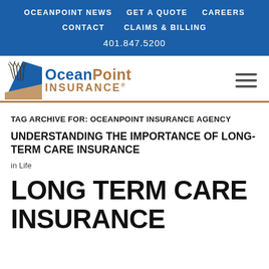OCEANPOINT NEWS  GET A QUOTE  CAREERS  CONTACT  CLAIMS & BILLING  401.847.5200
[Figure (logo): OceanPoint Insurance logo with blue and tan design featuring a stylized seagrass/coastal graphic]
TAG ARCHIVE FOR: OCEANPOINT INSURANCE AGENCY
UNDERSTANDING THE IMPORTANCE OF LONG-TERM CARE INSURANCE
in Life
LONG TERM CARE INSURANCE